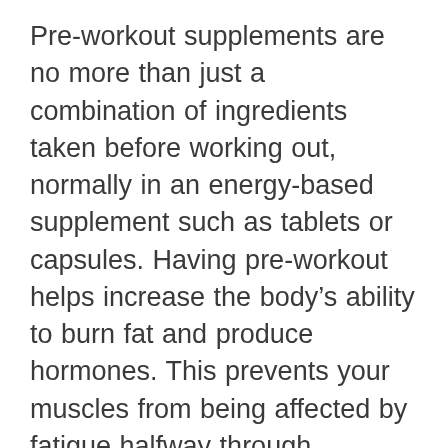Pre-workout supplements are no more than just a combination of ingredients taken before working out, normally in an energy-based supplement such as tablets or capsules. Having pre-workout helps increase the body's ability to burn fat and produce hormones. This prevents your muscles from being affected by fatigue halfway through exercising for longer periods of time.
Pre-workout supplements can contain creatine, branched-chain amino acids (BCAAs), carnitine, and beta-alanine.